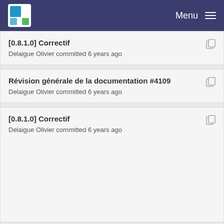Menu
[0.8.1.0] Correctif
Delaigue Olivier committed 6 years ago
Révision générale de la documentation #4109
Delaigue Olivier committed 6 years ago
[0.8.1.0] Correctif
Delaigue Olivier committed 6 years ago